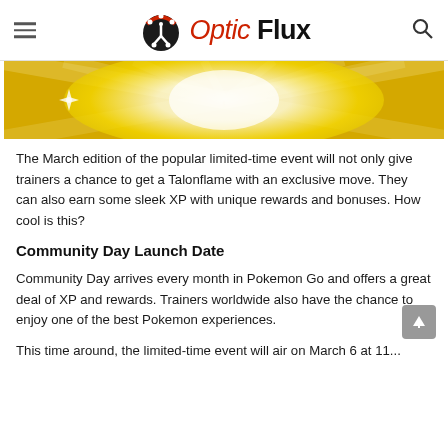Optic Flux
[Figure (illustration): Golden yellow sunburst/light rays banner image with bright white light in the center radiating outward on a golden yellow background.]
The March edition of the popular limited-time event will not only give trainers a chance to get a Talonflame with an exclusive move. They can also earn some sleek XP with unique rewards and bonuses. How cool is this?
Community Day Launch Date
Community Day arrives every month in Pokemon Go and offers a great deal of XP and rewards. Trainers worldwide also have the chance to enjoy one of the best Pokemon experiences.
This time around, the limited-time event will air on March 6 at 11...